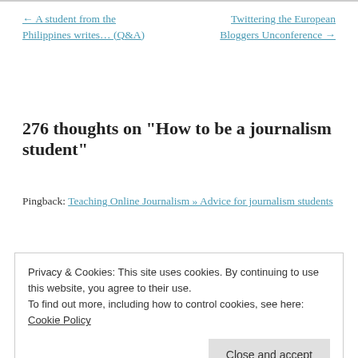← A student from the Philippines writes… (Q&A)
Twittering the European Bloggers Unconference →
276 thoughts on “How to be a journalism student”
Pingback: Teaching Online Journalism » Advice for journalism students
Privacy & Cookies: This site uses cookies. By continuing to use this website, you agree to their use.
To find out more, including how to control cookies, see here: Cookie Policy